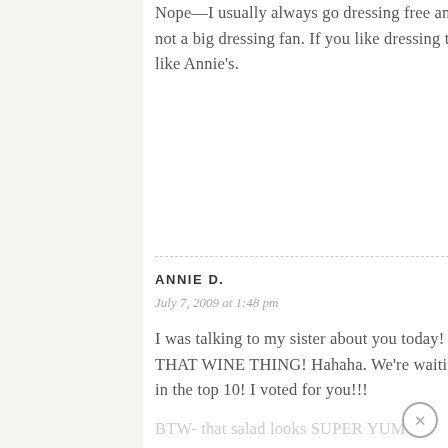Nope—I usually always go dressing free and use hummus as the dressing! I'm just not a big dressing fan. If you like dressing though I suggest an all natural brand like Annie's.
ANNIE D.
July 7, 2009 at 1:48 pm
I was talking to my sister about you today! I was like OH I HOPE JENNA GET'S THAT WINE THING! Hahaha. We're waiting on pins and needles to hear if you're in the top 10! I voted for you!!!
BTW- that salad looks SUPER YUM-O!!